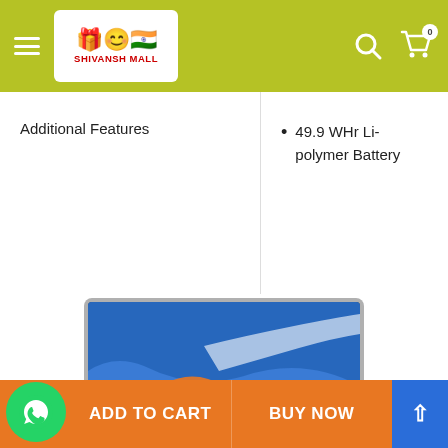Shivansh Mall - navigation header with logo, hamburger menu, search and cart icons
| Additional Features |  |
| --- | --- |
|  | 49.9 WHr Li-polymer Battery |
[Figure (photo): Apple MacBook Air laptop with colorful macOS Big Sur wallpaper displayed on screen, shown open from front and partially from below showing keyboard]
ADD TO CART | BUY NOW